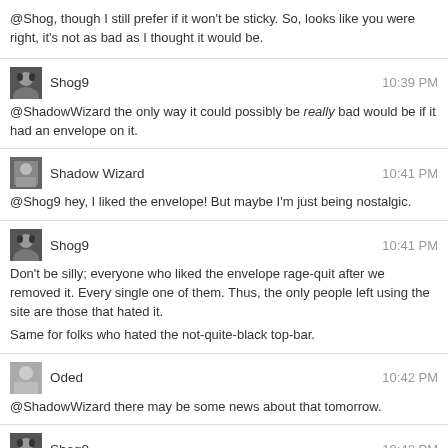@Shog, though I still prefer if it won't be sticky. So, looks like you were right, it's not as bad as I thought it would be.
Shog9 10:39 PM
@ShadowWizard the only way it could possibly be really bad would be if it had an envelope on it.
Shadow Wizard 10:41 PM
@Shog9 hey, I liked the envelope! But maybe I'm just being nostalgic.
Shog9 10:41 PM
Don't be silly; everyone who liked the envelope rage-quit after we removed it. Every single one of them. Thus, the only people left using the site are those that hated it.
Same for folks who hated the not-quite-black top-bar.
Oded 10:42 PM
@ShadowWizard there may be some news about that tomorrow.
Shog9 10:42 PM
"Twice as sticky, twice as white"
Oded 10:42 PM
"Shiny"
In the words of Kaylee
Shog9 10:43 PM
I miss the fake specular highlights that were so popular back in the early 2000s. Apple used them in their chat, Cingular (now AT&T) used them in their ads, Windows XP